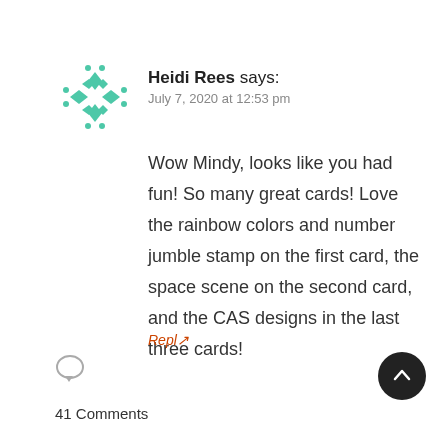[Figure (illustration): Teal/green decorative avatar icon with diamond and dot pattern]
Heidi Rees says:
July 7, 2020 at 12:53 pm
Wow Mindy, looks like you had fun! So many great cards! Love the rainbow colors and number jumble stamp on the first card, the space scene on the second card, and the CAS designs in the last three cards!
41 Comments